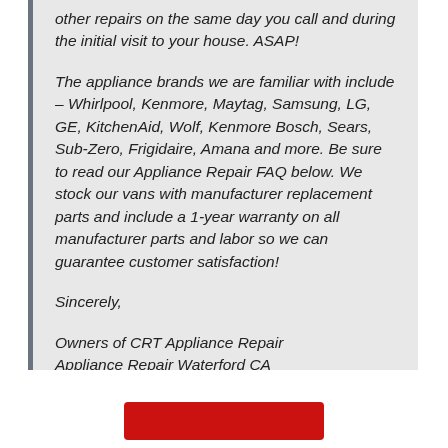other repairs on the same day you call and during the initial visit to your house. ASAP!

The appliance brands we are familiar with include – Whirlpool, Kenmore, Maytag, Samsung, LG, GE, KitchenAid, Wolf, Kenmore Bosch, Sears, Sub-Zero, Frigidaire, Amana and more. Be sure to read our Appliance Repair FAQ below. We stock our vans with manufacturer replacement parts and include a 1-year warranty on all manufacturer parts and labor so we can guarantee customer satisfaction!

Sincerely,

Owners of CRT Appliance Repair
Appliance Repair Waterford CA
[Figure (other): Red button at the bottom of the page]